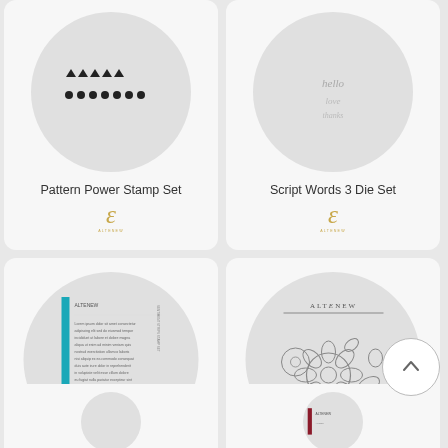[Figure (illustration): Product card: Pattern Power Stamp Set with Altenew logo, showing small stamp pattern image in circle]
Pattern Power Stamp Set
[Figure (illustration): Product card: Script Words 3 Die Set with Altenew logo in circle]
Script Words 3 Die Set
[Figure (illustration): Product card: Sentiment Strips Stamp Set showing stamp sheet with sentiment strips text in circle]
Sentiment Strips Stamp Set
[Figure (illustration): Product card: Virginia Rose 3D Die Set showing floral die cut image in circle]
Virginia Rose 3D Die Set
[Figure (illustration): Partially visible product card at bottom left]
[Figure (illustration): Partially visible product card at bottom right with Altenew branding visible]